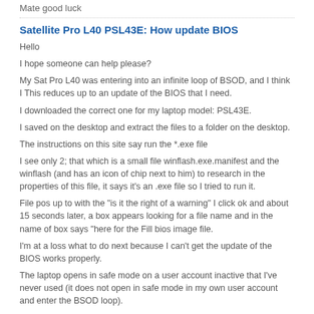Mate good luck
Satellite Pro L40 PSL43E: How update BIOS
Hello
I hope someone can help please?
My Sat Pro L40 was entering into an infinite loop of BSOD, and I think I This reduces up to an update of the BIOS that I need.
I downloaded the correct one for my laptop model: PSL43E.
I saved on the desktop and extract the files to a folder on the desktop.
The instructions on this site say run the *.exe file
I see only 2; that which is a small file winflash.exe.manifest and the winflash (and has an icon of chip next to him) to research in the properties of this file, it says it's an .exe file so I tried to run it.
File pos up to with the "is it the right of a warning" I click ok and about 15 seconds later, a box appears looking for a file name and in the name of box says "here for the Fill bios image file.
I'm at a loss what to do next because I can't get the update of the BIOS works properly.
The laptop opens in safe mode on a user account inactive that I've never used (it does not open in safe mode in my own user account and enter the BSOD loop).
Help, please!